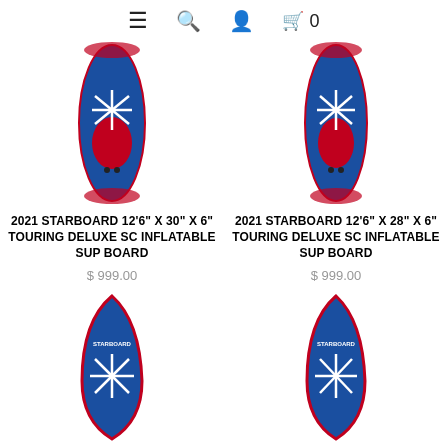≡  🔍  👤  🛒 0
[Figure (photo): Top view of 2021 Starboard 12'6" x 30" x 6" Touring Deluxe SC Inflatable SUP Board in blue and red]
2021 STARBOARD 12'6" X 30" X 6" TOURING DELUXE SC INFLATABLE SUP BOARD
$ 999.00
[Figure (photo): Top view of 2021 Starboard 12'6" x 28" x 6" Touring Deluxe SC Inflatable SUP Board in blue and red]
2021 STARBOARD 12'6" X 28" X 6" TOURING DELUXE SC INFLATABLE SUP BOARD
$ 999.00
[Figure (photo): Front/nose view of a blue Starboard SUP board]
[Figure (photo): Front/nose view of a blue Starboard SUP board]